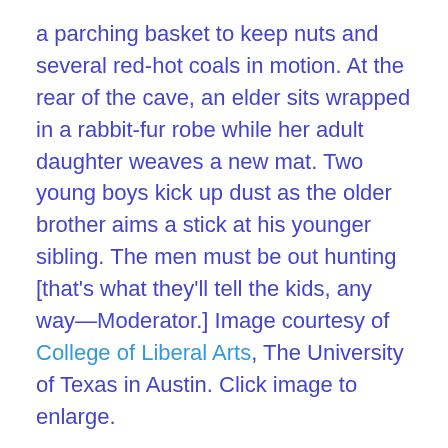a parching basket to keep nuts and several red-hot coals in motion. At the rear of the cave, an elder sits wrapped in a rabbit-fur robe while her adult daughter weaves a new mat. Two young boys kick up dust as the older brother aims a stick at his younger sibling. The men must be out hunting [that’s what they’ll tell the kids, any way—Moderator.] Image courtesy of College of Liberal Arts, The University of Texas in Austin. Click image to enlarge.
The National Research Council has released a new report which poses eleven questions that they believe would shape the research in geographical sciences in the next decade. To their credit they have briefly touched on “a time when populations are moving and natural resources are being depleted,” honing their questions with the “aim to provide a more complete understanding of where and how landscapes are changing” so that the society could